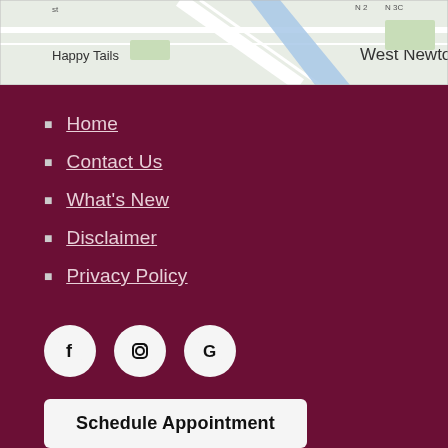[Figure (map): Google Maps screenshot showing West Newton area with Happy Tails location marked, streets visible including partial text 'st', 'N 25', 'N 30' road labels, blue road/water feature visible]
Home
Contact Us
What's New
Disclaimer
Privacy Policy
[Figure (other): Three social media icon circles: Facebook (F), Instagram (camera), Google (G) on dark maroon background]
Schedule Appointment